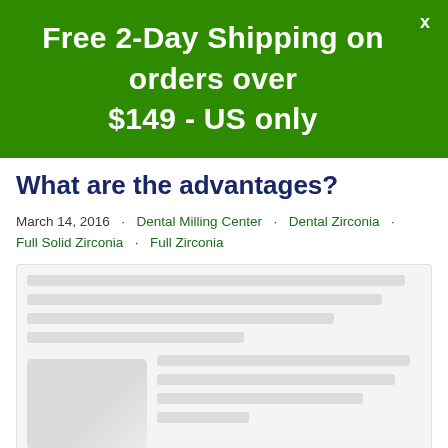Free 2-Day Shipping on orders over $149 - US only
What are the advantages?
March 14, 2016 · Dental Milling Center · Dental Zirconia · Full Solid Zirconia · Full Zirconia
[Figure (screenshot): Blurred/obscured article body content with placeholder image thumbnails]